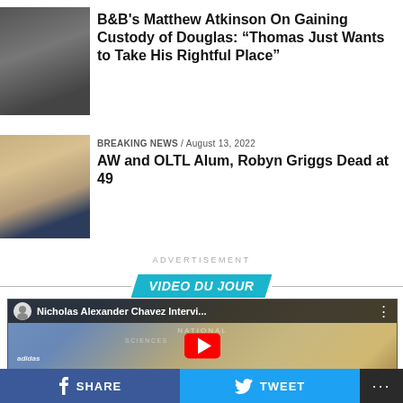[Figure (photo): Photo of a man (Matthew Atkinson) in dark clothing]
B&B's Matthew Atkinson On Gaining Custody of Douglas: "Thomas Just Wants to Take His Rightful Place"
[Figure (photo): Photo of a blonde woman (Robyn Griggs)]
BREAKING NEWS / August 13, 2022
AW and OLTL Alum, Robyn Griggs Dead at 49
ADVERTISEMENT
VIDEO DU JOUR
[Figure (screenshot): YouTube video thumbnail: Nicholas Alexander Chavez Intervi... interview video]
SHARE  TWEET  ...